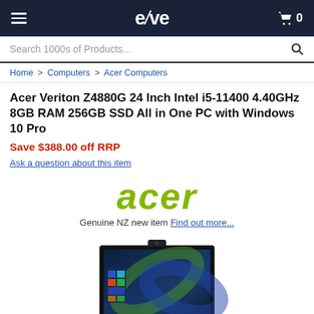e/ve  0
Search 1000s of Products...
Home > Computers > Acer Computers
Acer Veriton Z4880G 24 Inch Intel i5-11400 4.40GHz 8GB RAM 256GB SSD All in One PC with Windows 10 Pro
Save $388.00 off RRP
Ask a question about this item
[Figure (logo): Acer brand logo in green italic text]
Genuine NZ new item Find out more...
[Figure (photo): Acer Veriton Z4880G all-in-one PC with black monitor showing Windows 11 wallpaper and a pop-up webcam on top]